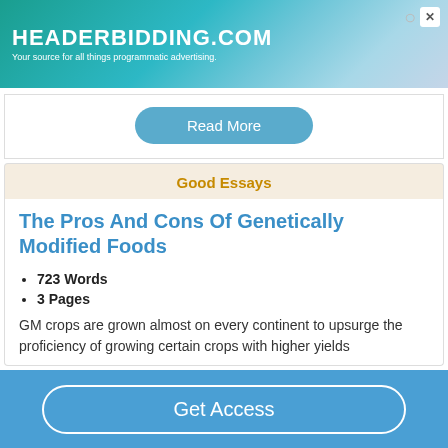[Figure (other): HEADERBIDDING.COM advertisement banner - Your source for all things programmatic advertising.]
Read More
Good Essays
The Pros And Cons Of Genetically Modified Foods
723 Words
3 Pages
GM crops are grown almost on every continent to upsurge the proficiency of growing certain crops with higher yields
Get Access